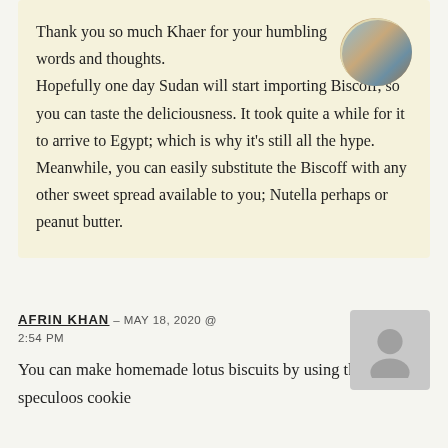Thank you so much Khaer for your humbling words and thoughts. Hopefully one day Sudan will start importing Biscoff, so you can taste the deliciousness. It took quite a while for it to arrive to Egypt; which is why it's still all the hype. Meanwhile, you can easily substitute the Biscoff with any other sweet spread available to you; Nutella perhaps or peanut butter.
AFRIN KHAN — MAY 18, 2020 @ 2:54 PM
You can make homemade lotus biscuits by using the speculoos cookie